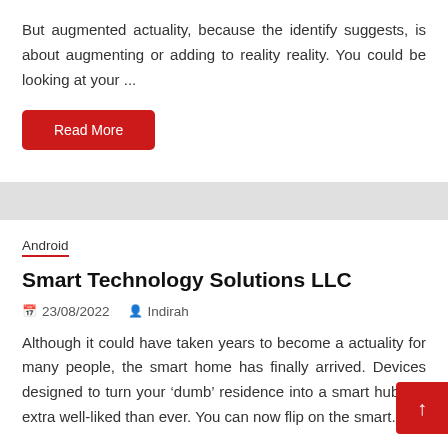But augmented actuality, because the identify suggests, is about augmenting or adding to reality reality. You could be looking at your ...
Read More
Android
Smart Technology Solutions LLC
23/08/2022   Indirah
Although it could have taken years to become a actuality for many people, the smart home has finally arrived. Devices designed to turn your ‘dumb’ residence into a smart hub are extra well-liked than ever. You can now flip on the smart...